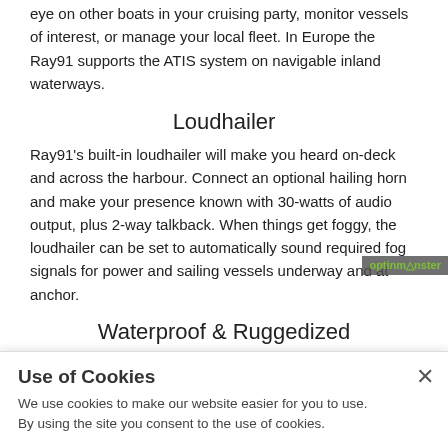eye on other boats in your cruising party, monitor vessels of interest, or manage your local fleet. In Europe the Ray91 supports the ATIS system on navigable inland waterways.
Loudhailer
Ray91’s built-in loudhailer will make you heard on-deck and across the harbour. Connect an optional hailing horn and make your presence known with 30-watts of audio output, plus 2-way talkback. When things get foggy, the loudhailer can be set to automatically sound required fog signals for power and sailing vessels underway and at anchor.
Waterproof & Ruggedized
Ray91’s transceiver unit is cast in solid aluminum for shock and vibration resistance and maximum heat dissipation. RayMic handsets feature super-bright backlighting for easy
Use of Cookies
We use cookies to make our website easier for you to use. By using the site you consent to the use of cookies.